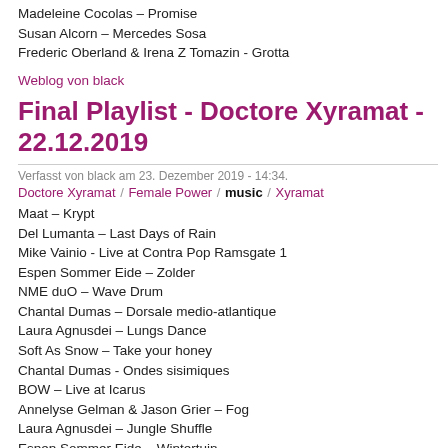Madeleine Cocolas – Promise
Susan Alcorn – Mercedes Sosa
Frederic Oberland & Irena Z Tomazin - Grotta
Weblog von black
Final Playlist - Doctore Xyramat - 22.12.2019
Verfasst von black am 23. Dezember 2019 - 14:34.
Doctore Xyramat / Female Power / music / Xyramat
Maat – Krypt
Del Lumanta – Last Days of Rain
Mike Vainio - Live at Contra Pop Ramsgate 1
Espen Sommer Eide – Zolder
NME duO – Wave Drum
Chantal Dumas – Dorsale medio-atlantique
Laura Agnusdei – Lungs Dance
Soft As Snow – Take your honey
Chantal Dumas - Ondes sisimiques
BOW – Live at Icarus
Annelyse Gelman & Jason Grier – Fog
Laura Agnusdei – Jungle Shuffle
Espen Sommer Eide – Wintertuin